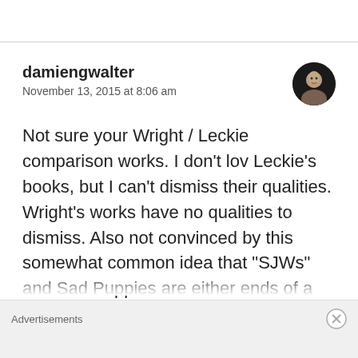damiengwalter
November 13, 2015 at 8:06 am
Not sure your Wright / Leckie comparison works. I don't lov Leckie's books, but I can't dismiss their qualities. Wright's works have no qualities to dismiss. Also not convinced by this somewhat common idea that “SJWs” and Sad Puppies are either ends of a spectrum. Perhaps it only looks that way because some SF fan ar quite extreme on the conservative end of that spectrum?
Advertisements